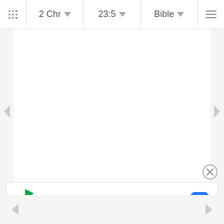2 Chr  23:5  Bible
[Figure (screenshot): Blank white content area for Bible app showing 2 Chronicles 23:5, with left and right navigation arrows on sides]
[Figure (other): Close (X) button circle for dismissing ad]
[Figure (other): sweetFrog advertisement banner: 'You deserve a sweet Treat' with sweetFrog brand logo and navigation arrow icon]